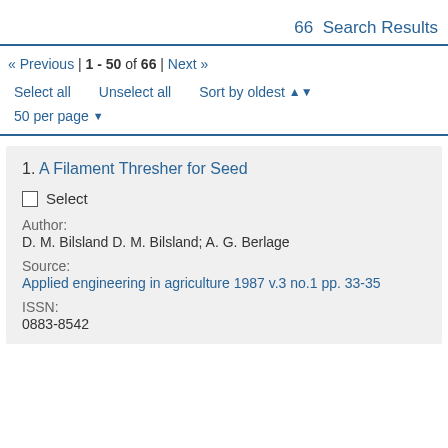66 Search Results
« Previous | 1 - 50 of 66 | Next »
Select all   Unselect all   Sort by oldest
50 per page
1. A Filament Thresher for Seed
Select
Author:
D. M. Bilsland D. M. Bilsland; A. G. Berlage
Source:
Applied engineering in agriculture 1987 v.3 no.1 pp. 33-35
ISSN:
0883-8542